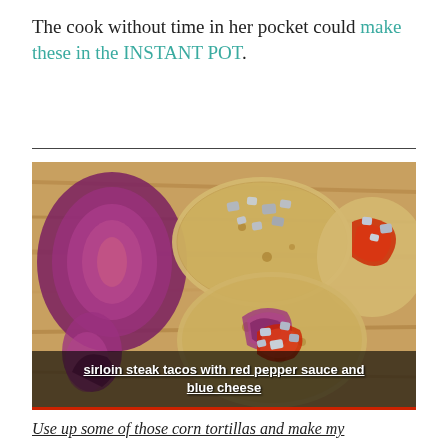The cook without time in her pocket could make these in the INSTANT POT.
[Figure (photo): Overhead photo of sirloin steak tacos on corn tortillas on a wooden cutting board, topped with crumbled blue cheese, red pepper sauce, and sliced red onions. Caption bar reads: sirloin steak tacos with red pepper sauce and blue cheese.]
sirloin steak tacos with red pepper sauce and blue cheese
Use up some of those corn tortillas and make my